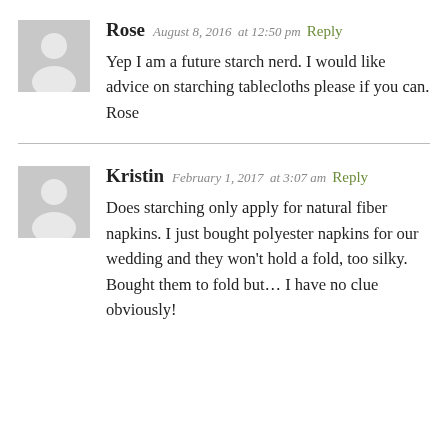[Figure (illustration): Gray placeholder avatar silhouette for user Rose]
Rose  August 8, 2016  at 12:50 pm  Reply
Yep I am a future starch nerd. I would like advice on starching tablecloths please if you can.
Rose
[Figure (illustration): Gray placeholder avatar silhouette for user Kristin]
Kristin  February 1, 2017  at 3:07 am  Reply
Does starching only apply for natural fiber napkins. I just bought polyester napkins for our wedding and they won’t hold a fold, too silky. Bought them to fold but… I have no clue obviously!